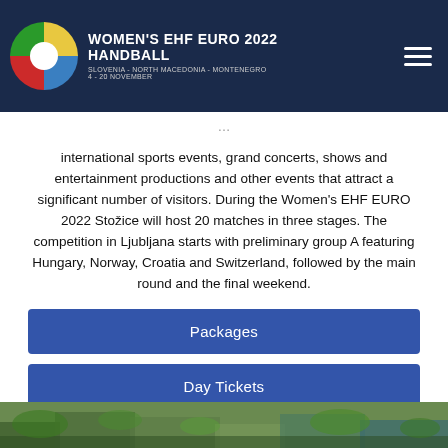WOMEN'S EHF EURO 2022 HANDBALL
SLOVENIA - NORTH MACEDONIA - MONTENEGRO
4 - 20 NOVEMBER
international sports events, grand concerts, shows and entertainment productions and other events that attract a significant number of visitors. During the Women's EHF EURO 2022 Stožice will host 20 matches in three stages. The competition in Ljubljana starts with preliminary group A featuring Hungary, Norway, Croatia and Switzerland, followed by the main round and the final weekend.
Packages
Day Tickets
Schedule
[Figure (photo): Aerial photograph of city/venue area for Women's EHF Euro 2022 handball tournament]